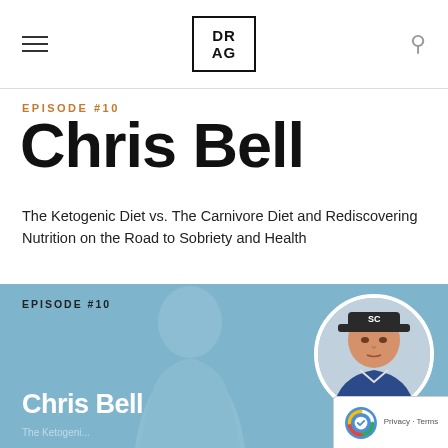DR AG (logo)
EPISODE #10
Chris Bell
The Ketogenic Diet vs. The Carnivore Diet and Rediscovering Nutrition on the Road to Sobriety and Health
[Figure (illustration): Blue card section showing EPISODE #10 label, a faded silhouette of a man in profile, a circular photo of Chris Bell wearing a dark cap, and the name 'Chris Bell' in white bold text at the bottom. A reCAPTCHA badge with Privacy · Terms text appears in the bottom right corner.]